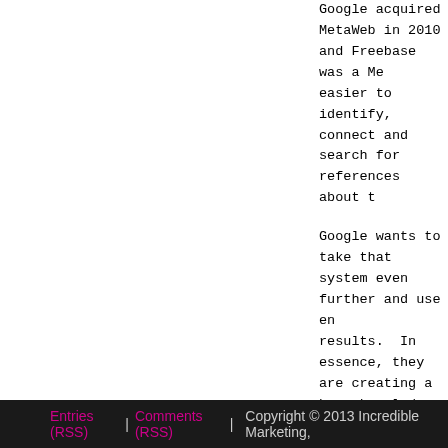Google acquired MetaWeb in 2010 and Freebase was a Me... easier to identify, connect and search for references about t...
Google wants to take that system even further and use en... results.  In essence, they are creating a huge knowledge gra...
If you look at Google Plus, you can already start to see the c... businesses, can add different entities to their circles.  Goog... is sharing what.
The more information Google gathers, the easier it will be fo... on their knowledge of those entities.
It's very likely that an entity based system will build on the c... influence or popularity.  But, an entity based system will req... that framework, if appropriate.
It's not too early to start looking at your business and how... community and the similarities that Google might use to prov...
Focus on context and connecting and you'll be on the right t...
Entries (RSS)  |  Comments (RSS)  |  Copyright © 2013 Incredible Marketing,